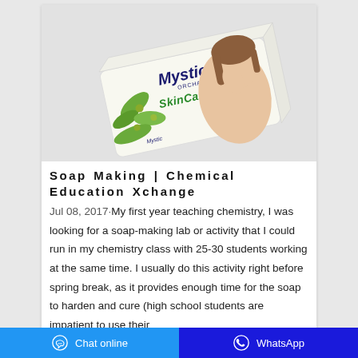[Figure (photo): Photo of a Mystic Orchard Skin Care Soap bar package with a woman's face and olive branches on the packaging, on a white/grey background.]
Soap Making | Chemical Education Xchange
Jul 08, 2017·My first year teaching chemistry, I was looking for a soap-making lab or activity that I could run in my chemistry class with 25-30 students working at the same time. I usually do this activity right before spring break, as it provides enough time for the soap to harden and cure (high school students are impatient to use their
Chat online   WhatsApp